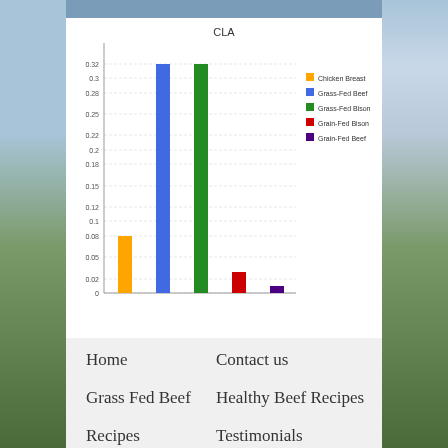[Figure (bar-chart): CLA]
Home
Contact us
Grass Fed Beef
Healthy Beef Recipes
Recipes
Testimonials